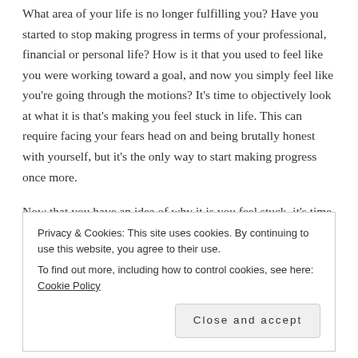What area of your life is no longer fulfilling you? Have you started to stop making progress in terms of your professional, financial or personal life? How is it that you used to feel like you were working toward a goal, and now you simply feel like you're going through the motions? It's time to objectively look at what it is that's making you feel stuck in life. This can require facing your fears head on and being brutally honest with yourself, but it's the only way to start making progress once more.
Now that you have an idea of why it is you feel stuck, it's time to start reconnecting with your progress. The first step is in changing your physiology. If you're walking around hunched over,
Privacy & Cookies: This site uses cookies. By continuing to use this website, you agree to their use.
To find out more, including how to control cookies, see here: Cookie Policy
Close and accept